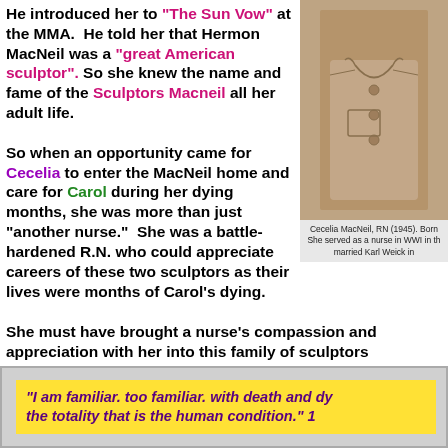He introduced her to "The Sun Vow" at the MMA. He told her that Hermon MacNeil was a "great American sculptor". So she knew the name and fame of the Sculptors Macneil all her adult life.
[Figure (photo): Black and white photo of Cecelia MacNeil, RN (1945), cropped showing torso with cardigan sweater]
Cecelia MacNeil, RN (1945). Born She served as a nurse in WWI in th married Karl Weick in
So when an opportunity came for Cecelia to enter the MacNeil home and care for Carol during her dying months, she was more than just "another nurse." She was a battle-hardened R.N. who could appreciate careers of these two sculptors as their lives were months of Carol's dying.
She must have brought a nurse's compassion and appreciation with her into this family of sculptors
In her later years, Cecelia described herself by sa
"I am familiar. too familiar. with death and dy the totality that is the human condition." 1